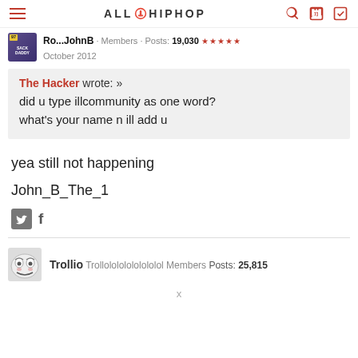ALL HIPHOP
Ro...JohnB · Members · Posts: 19,030 · ★★★★★ · October 2012
The Hacker wrote: »
did u type illcommunity as one word?
what's your name n ill add u
yea still not happening

John_B_The_1
Trollio · Trollolololololololol · Members · Posts: 25,815